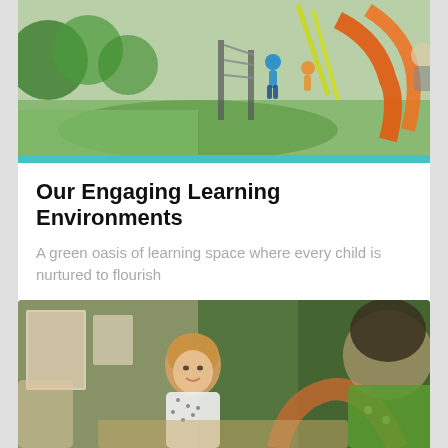[Figure (photo): Children playing on outdoor playground equipment with green rubber surface, colorful climbing structures, and trees in background]
Our Engaging Learning Environments
A green oasis of learning space where every child is nurtured to flourish
[Figure (photo): Teacher sitting with young children in a classroom with green grass-wall background and educational materials]